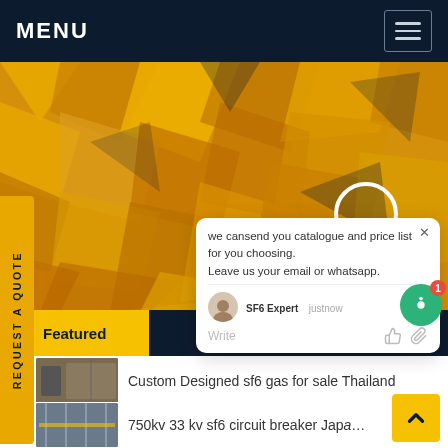MENU
[Figure (screenshot): Yellow polygonal geometric hero background image with angular shapes in shades of yellow, gold, and dark blue/navy]
REQUEST A QUOTE
we cansend you catalogue and price list for you choosing. Leave us your email or whatsapp.
SF6 Expert   justnow
Write
Featured
Popular
Latest
Custom Designed sf6 gas for sale Thailand
[Figure (photo): Industrial electrical equipment/transformer in outdoor substation setting]
750kv 33 kv sf6 circuit breaker Japa…
[Figure (photo): High voltage electrical substation with circuit breakers and transmission towers]